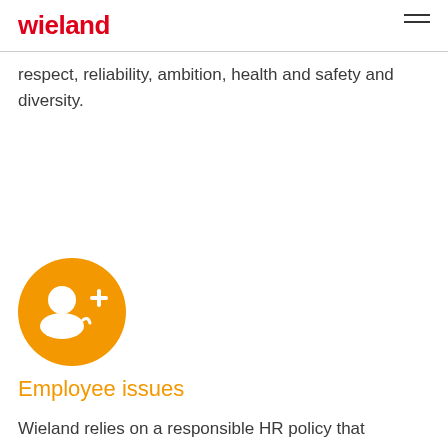wieland
respect, reliability, ambition, health and safety and diversity.
[Figure (illustration): Orange circle icon with a person/user add symbol (silhouette of a person with a plus sign to the right)]
Employee issues
Wieland relies on a responsible HR policy that